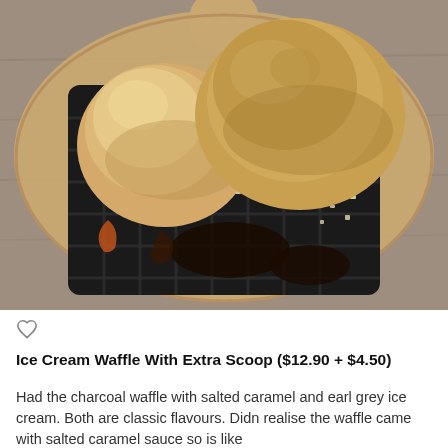[Figure (photo): A charcoal black waffle served on a wooden board with two scoops of ice cream (salted caramel and earl grey), drizzled with chocolate sauce and caramel sauce, topped with crushed nuts.]
Ice Cream Waffle With Extra Scoop ($12.90 + $4.50)
Had the charcoal waffle with salted caramel and earl grey ice cream. Both are classic flavours. Didn realise the waffle came with salted caramel sauce so is like